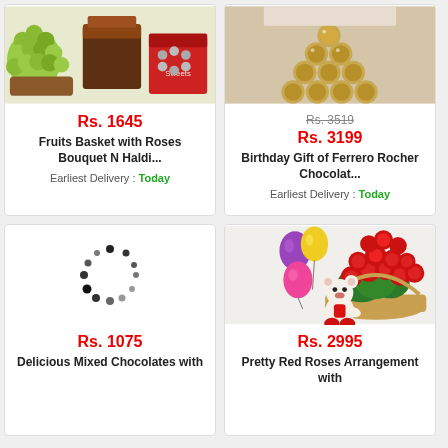[Figure (photo): Fruits basket with roses bouquet and haldi - product image showing green grapes, chocolate cake, and sweets in red packaging]
Rs. 1645
Fruits Basket with Roses Bouquet N Haldi...
Earliest Delivery : Today
[Figure (photo): Birthday gift of Ferrero Rocher chocolates arranged in a pyramid/tower shape]
Rs. 3519
Rs. 3199
Birthday Gift of Ferrero Rocher Chocolat...
Earliest Delivery : Today
[Figure (other): Loading spinner animation (dots arranged in circle)]
Rs. 1075
Delicious Mixed Chocolates with
[Figure (photo): Pretty red roses arrangement in a basket with colorful balloons and a white teddy bear]
Rs. 2995
Pretty Red Roses Arrangement with